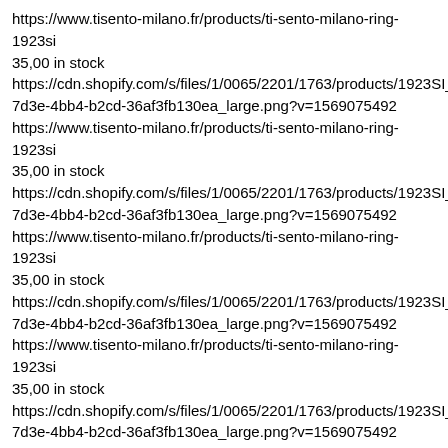https://www.tisento-milano.fr/products/ti-sento-milano-ring-1923si
35,00 in stock
https://cdn.shopify.com/s/files/1/0065/2201/1763/products/1923SI_17d3e-4bb4-b2cd-36af3fb130ea_large.png?v=1569075492
https://www.tisento-milano.fr/products/ti-sento-milano-ring-1923si
35,00 in stock
https://cdn.shopify.com/s/files/1/0065/2201/1763/products/1923SI_17d3e-4bb4-b2cd-36af3fb130ea_large.png?v=1569075492
https://www.tisento-milano.fr/products/ti-sento-milano-ring-1923si
35,00 in stock
https://cdn.shopify.com/s/files/1/0065/2201/1763/products/1923SI_17d3e-4bb4-b2cd-36af3fb130ea_large.png?v=1569075492
https://www.tisento-milano.fr/products/ti-sento-milano-ring-1923si
35,00 in stock
https://cdn.shopify.com/s/files/1/0065/2201/1763/products/1923SI_17d3e-4bb4-b2cd-36af3fb130ea_large.png?v=1569075492
https://www.tisento-milano.fr/products/ti-sento-milano-ring-1923si
35,00 in stock
https://cdn.shopify.com/s/files/1/0065/2201/1763/products/1923SI_17d3e-4bb4-b2cd-36af3fb130ea_large.png?v=1569075492
https://www.tisento-milano.fr/products/ti-sento-milano-ring-1923si
35,00 in stock
https://cdn.shopify.com/s/files/1/0065/2201/1763/products/1923SI_17d3e-4bb4-b2cd-36af3fb130ea_large.png?v=1569075492
https://www.tisento-milano.fr/products/ti-sento-milano-ring-1923si